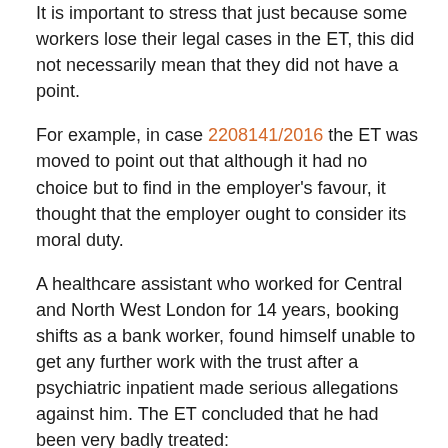It is important to stress that just because some workers lose their legal cases in the ET, this did not necessarily mean that they did not have a point.
For example, in case 2208141/2016 the ET was moved to point out that although it had no choice but to find in the employer's favour, it thought that the employer ought to consider its moral duty.
A healthcare assistant who worked for Central and North West London for 14 years, booking shifts as a bank worker, found himself unable to get any further work with the trust after a psychiatric inpatient made serious allegations against him. The ET concluded that he had been very badly treated:
“On 8 June 2016 and thereafter he has found himself blocked from working further shifts, after a patient on the ward, one of three for adults suffering acute stages of mental illness, complained to the police that a member of